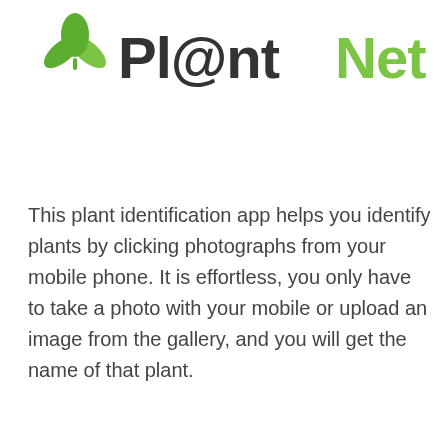[Figure (logo): Pl@ntNet logo with green leaf icon on the left and stylized text 'Pl@ntNet' with dark and green coloring on the right]
This plant identification app helps you identify plants by clicking photographs from your mobile phone. It is effortless, you only have to take a photo with your mobile or upload an image from the gallery, and you will get the name of that plant.